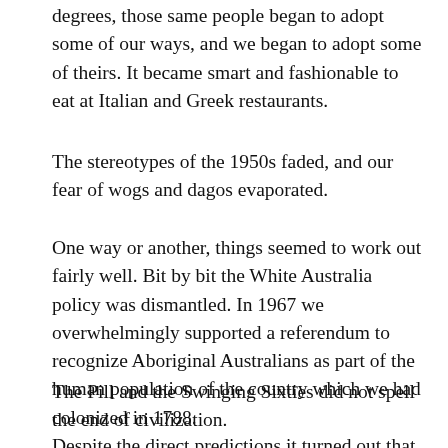degrees, those same people began to adopt some of our ways, and we began to adopt some of theirs. It became smart and fashionable to eat at Italian and Greek restaurants.
The stereotypes of the 1950s faded, and our fear of wogs and dagos evaporated.
One way or another, things seemed to work out fairly well. Bit by bit the White Australia policy was dismantled. In 1967 we overwhelmingly supported a referendum to recognize Aboriginal Australians as part of the human population of the country which we had colonized in 1788.
The Pill and the Swinging Sixties did not spell the end of civilization.
Despite the direct predictions it turned out that S...